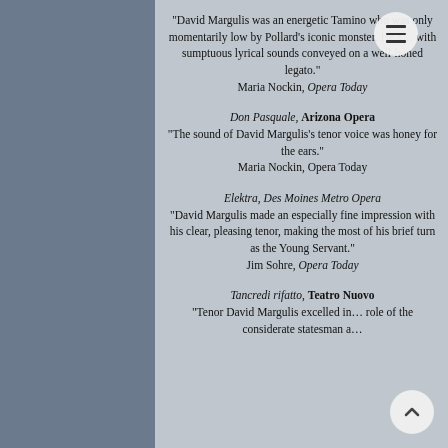“David Margulis was an energetic Tamino who was only momentarily low by Pollard’s iconic monster. He s… with sumptuous lyrical sounds conveyed on a well-honed legato.” Maria Nockin, Opera Today
Don Pasquale, Arizona Opera “The sound of David Margulis’s tenor voice was honey for the ears.” Maria Nockin, Opera Today
Elektra, Des Moines Metro Opera “David Margulis made an especially fine impression with his clear, pleasing tenor, making the most of his brief turn as the Young Servant.” Jim Sohre, Opera Today
Tancredi rifatto, Teatro Nuovo “Tenor David Margulis excelled in… role of the considerate statesman a…